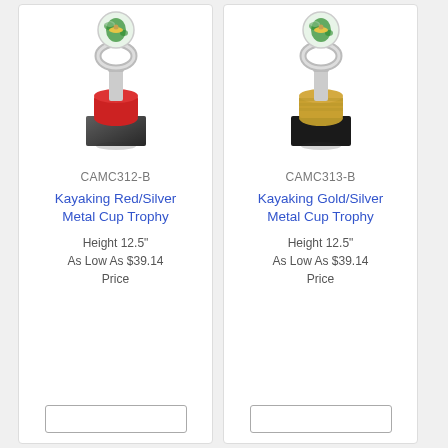[Figure (photo): Kayaking Red/Silver Metal Cup Trophy photo - silver trophy with red base and black marble bottom]
CAMC312-B
Kayaking Red/Silver Metal Cup Trophy
Height 12.5"
As Low As $39.14
Price
[Figure (photo): Kayaking Gold/Silver Metal Cup Trophy photo - silver trophy with gold base and black marble bottom]
CAMC313-B
Kayaking Gold/Silver Metal Cup Trophy
Height 12.5"
As Low As $39.14
Price